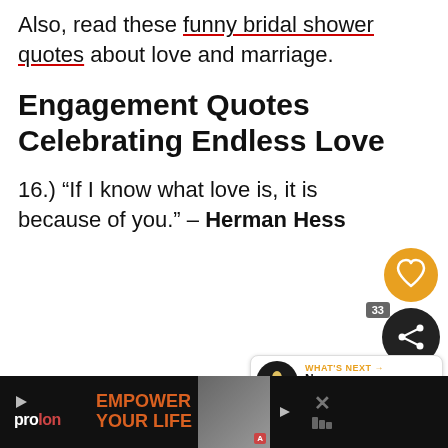Also, read these funny bridal shower quotes about love and marriage.
Engagement Quotes Celebrating Endless Love
16.) “If I know what love is, it is because of you.” – Herman Hesse
[Figure (screenshot): Social sharing buttons: heart icon (orange circle) and share icon (dark circle) with count 33, plus a 'What's Next' widget showing 'New Beginning...']
[Figure (screenshot): Advertisement bar at bottom: Prolon brand with 'EMPOWER YOUR LIFE' tagline in orange, product photo, and close/menu icons on black background]